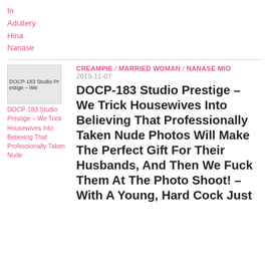In
Adultery
Hina
Nanase
CREAMPIE / MARRIED WOMAN / NANASE MIO
2019-11-07
[Figure (other): Thumbnail image for DOCP-183 Studio Prestige post]
DOCP-183 Studio Prestige – We Trick Housewives Into Believing That Professionally Taken Nude Photos Will Make The Perfect Gift For Their Husbands, And Then We Fuck Them At The Photo Shoot! – With A Young, Hard Cock Just